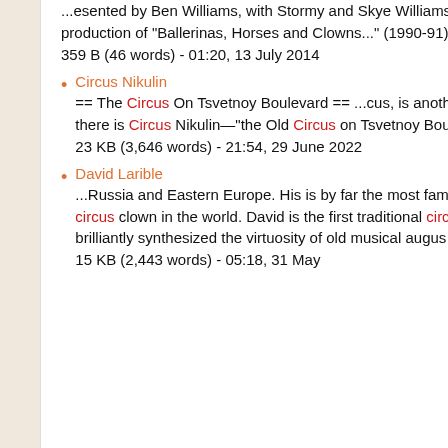...esented by Ben Williams, with Stormy and Skye Williams, in the [[Big Apple Circus]] production of "Ballerinas, Horses and Clowns..." (1990-91).
359 B (46 words) - 01:20, 13 July 2014
Circus Nikulin
== The Circus On Tsvetnoy Boulevard == ...cus, is another one. And in Moscow, there is Circus Nikulin&mdash;"the Old Circus on Tsvetnoy Boulevard."
23 KB (3,646 words) - 21:54, 29 June 2022
David Larible
...Russia and Eastern Europe. His is by far the most famous (and most copied) circus clown in the world. David is the first traditional circus auguste to have brilliantly synthesized the virtuosity of old musical augus
15 KB (2,443 words) - 05:18, 31 May